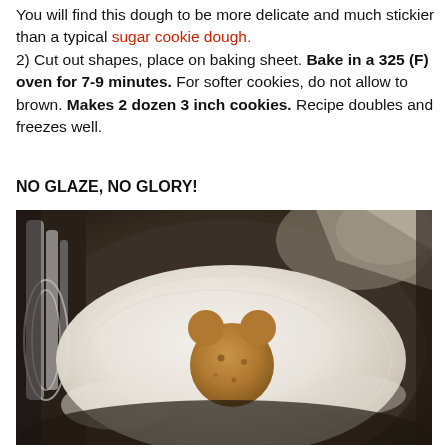You will find this dough to be more delicate and much stickier than a typical sugar cookie dough. 2) Cut out shapes, place on baking sheet. Bake in a 325 (F) oven for 7-9 minutes. For softer cookies, do not allow to brown. Makes 2 dozen 3 inch cookies. Recipe doubles and freezes well.
NO GLAZE, NO GLORY!
[Figure (photo): A cookie shaped like a bear or pumpkin being dipped or floating in white glaze inside a shiny metal bowl with a whisk visible on the left.]